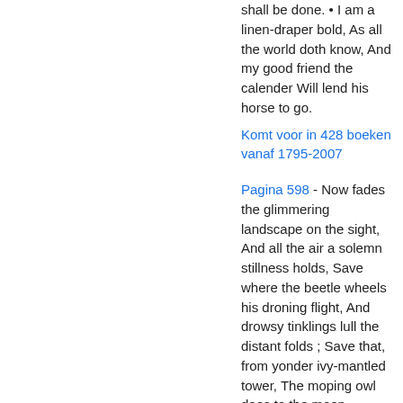shall be done. • I am a linen-draper bold, As all the world doth know, And my good friend the calender Will lend his horse to go.
Komt voor in 428 boeken vanaf 1795-2007
Pagina 598 - Now fades the glimmering landscape on the sight, And all the air a solemn stillness holds, Save where the beetle wheels his droning flight, And drowsy tinklings lull the distant folds ; Save that, from yonder ivy-mantled tower, The moping owl does to the moon complain Of such as, wandering near her